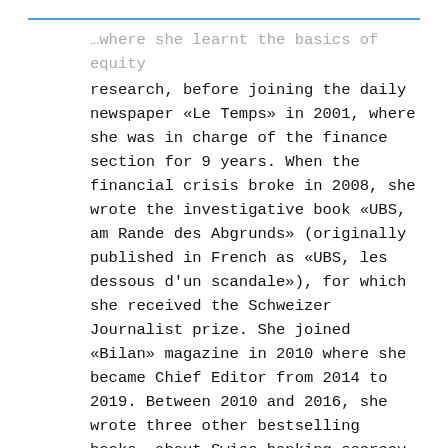…where she learnt the basics of equity research, before joining the daily newspaper «Le Temps» in 2001, where she was in charge of the finance section for 9 years. When the financial crisis broke in 2008, she wrote the investigative book «UBS, am Rande des Abgrunds» (originally published in French as «UBS, les dessous d'un scandale»), for which she received the Schweizer Journalist prize. She joined «Bilan» magazine in 2010 where she became Chief Editor from 2014 to 2019. Between 2010 and 2016, she wrote three other bestselling books, about Swiss banking secrecy, the end of